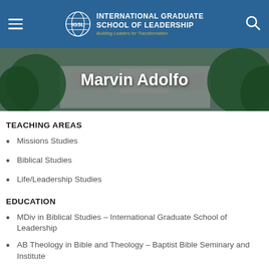INTERNATIONAL GRADUATE SCHOOL OF LEADERSHIP — Building Leaders for Transformation
Marvin Adolfo
TEACHING AREAS
Missions Studies
Biblical Studies
Life/Leadership Studies
EDUCATION
MDiv in Biblical Studies – International Graduate School of Leadership
AB Theology in Bible and Theology – Baptist Bible Seminary and Institute